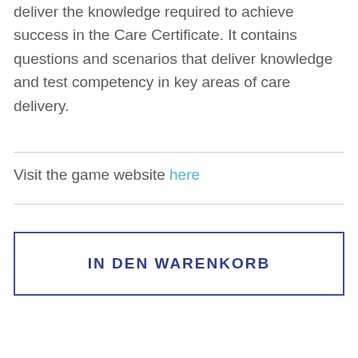deliver the knowledge required to achieve success in the Care Certificate. It contains questions and scenarios that deliver knowledge and test competency in key areas of care delivery.
Visit the game website here
IN DEN WARENKORB